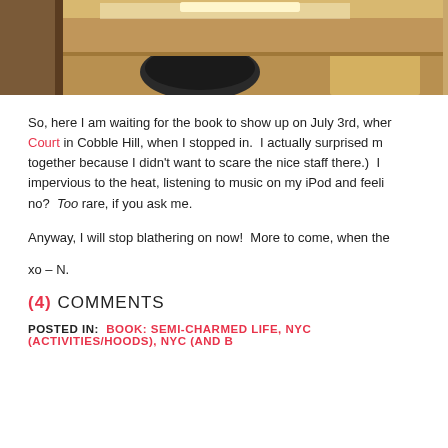[Figure (photo): Interior photo showing wooden shelving/cabinet area with warm brown tones and overhead lighting]
So, here I am waiting for the book to show up on July 3rd, when Court in Cobble Hill, when I stopped in.  I actually surprised my together because I didn't want to scare the nice staff there.)  I impervious to the heat, listening to music on my iPod and feeli no?  Too rare, if you ask me.
Anyway, I will stop blathering on now!  More to come, when the
xo – N.
(4) COMMENTS
POSTED IN:  BOOK: SEMI-CHARMED LIFE, NYC (ACTIVITIES/HOODS), NYC (AND B